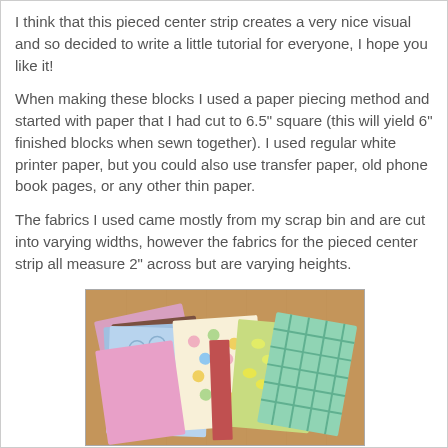I think that this pieced center strip creates a very nice visual and so decided to write a little tutorial for everyone, I hope you like it!
When making these blocks I used a paper piecing method and started with paper that I had cut to 6.5" square (this will yield 6" finished blocks when sewn together). I used regular white printer paper, but you could also use transfer paper, old phone book pages, or any other thin paper.
The fabrics I used came mostly from my scrap bin and are cut into varying widths, however the fabrics for the pieced center strip all measure 2" across but are varying heights.
[Figure (photo): A stack of colorful fabric swatches in various patterns including polka dots, plaids, florals, and geometric prints, arranged in a pile on a wooden surface.]